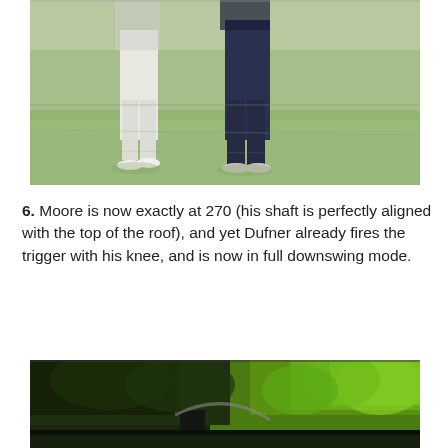[Figure (photo): Two golfers standing on a grass golf course, photographed from the waist down. One wearing white trousers on the left, one in dark navy trousers on the right. Bright sunlit green grass in the background with trees.]
6. Moore is now exactly at 270 (his shaft is perfectly aligned with the top of the roof), and yet Dufner already fires the trigger with his knee, and is now in full downswing mode.
[Figure (photo): A golfer at the bottom portion of frame in a dark setting, surrounded by dense lush green trees and foliage. The golfer appears to be mid-swing, with clubs visible. Dark moody background.]